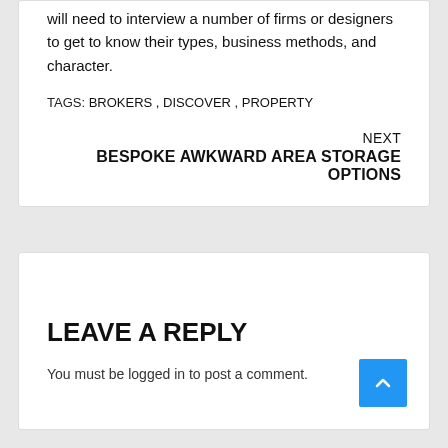will need to interview a number of firms or designers to get to know their types, business methods, and character.
TAGS: BROKERS, DISCOVER, PROPERTY
NEXT
BESPOKE AWKWARD AREA STORAGE OPTIONS
LEAVE A REPLY
You must be logged in to post a comment.